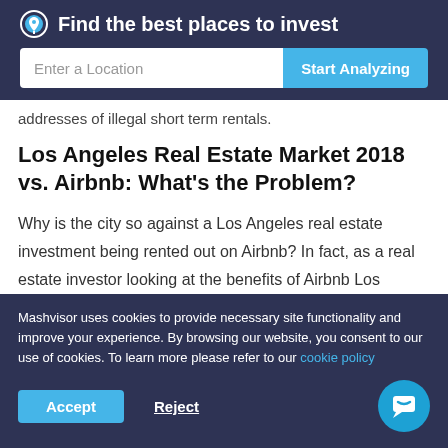Find the best places to invest
Enter a Location
Start Analyzing
addresses of illegal short term rentals.
Los Angeles Real Estate Market 2018 vs. Airbnb: What's the Problem?
Why is the city so against a Los Angeles real estate investment being rented out on Airbnb? In fact, as a real estate investor looking at the benefits of Airbnb Los Angeles, the city thinks that it may soon need
Mashvisor uses cookies to provide necessary site functionality and improve your experience. By browsing our website, you consent to our use of cookies. To learn more please refer to our cookie policy
Accept
Reject